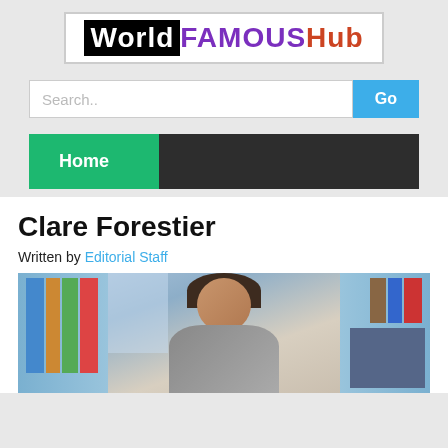[Figure (logo): WorldFAMOUSHub logo with black background 'World', purple 'FAMOUS', red-orange 'Hub']
Search..
Go
Home
Clare Forestier
Written by Editorial Staff
[Figure (photo): Photo of a woman with dark hair in front of bookshelves]